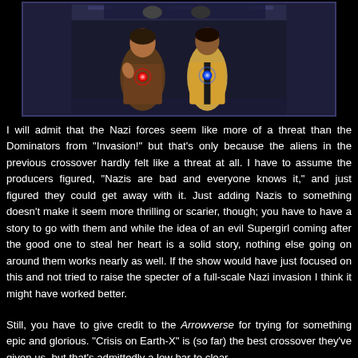[Figure (screenshot): Screenshot from a TV show (Arrowverse/Crisis on Earth-X) showing two characters in a corridor, one wearing a brown jacket with a red glowing chest piece, the other in a superhero costume with a blue glowing chest piece.]
I will admit that the Nazi forces seem like more of a threat than the Dominators from "Invasion!" but that's only because the aliens in the previous crossover hardly felt like a threat at all. I have to assume the producers figured, "Nazis are bad and everyone knows it," and just figured they could get away with it. Just adding Nazis to something doesn't make it seem more thrilling or scarier, though; you have to have a story to go with them and while the idea of an evil Supergirl coming after the good one to steal her heart is a solid story, nothing else going on around them works nearly as well. If the show would have just focused on this and not tried to raise the specter of a full-scale Nazi invasion I think it might have worked better.
Still, you have to give credit to the Arrowverse for trying for something epic and glorious. "Crisis on Earth-X" is (so far) the best crossover they've given us, but that's admittedly a low bar to clear.